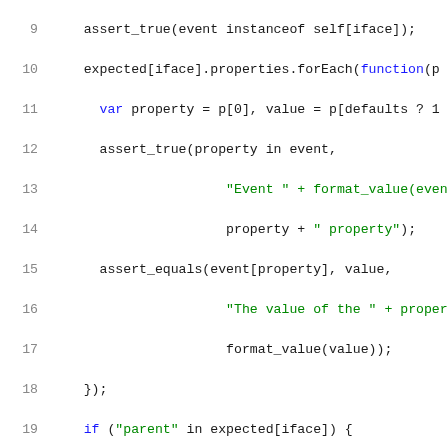Code snippet showing JavaScript test utility code, lines 9-30, with syntax highlighting in blue and green on white background.